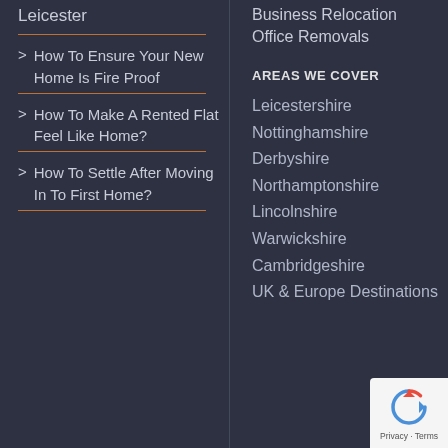Leicester
> How To Ensure Your New Home Is Fire Proof
> How To Make A Rented Flat Feel Like Home?
> How To Settle After Moving In To First Home?
Business Relocation
Office Removals
AREAS WE COVER
Leicestershire
Nottinghamshire
Derbyshire
Northamptonshire
Lincolnshire
Warwickshire
Cambridgeshire
UK & Europe Destinations
[Figure (logo): Google reCAPTCHA badge with recycling-arrow logo and 'Privacy - Terms' text]